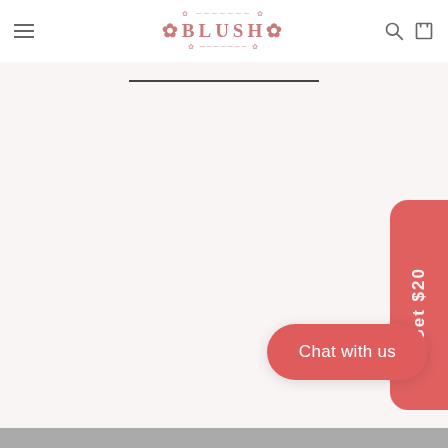BLUSH — website header with hamburger menu, logo, search and cart icons
[Figure (screenshot): Blush brand website page. White navigation header with hamburger menu icon on left, decorative pink BLUSH logo in center, search and cart icons on right. Below is a large light pink/off-white empty content area. A pink rounded rectangular 'Get $20' tab protrudes from the right edge. A red rounded 'Chat with us' button appears in the lower right area. A gray footer strip runs along the very bottom.]
Get $20
Chat with us